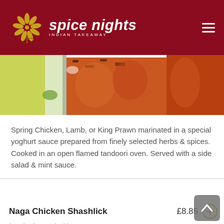spice nights INDIAN TAKEAWAY
[Figure (photo): Food photo showing yellow rice, white onions, and orange-red tandoori grilled chicken pieces]
Spring Chicken, Lamb, or King Prawn marinated in a special yoghurt sauce prepared from finely selected herbs & spices. Cooked in an open flamed tandoori oven. Served with a side salad & mint sauce.
Naga Chicken Shashlick £8.85 — hot. barbecued with capsicum, tomato and onion
Naga Lamb Shaslick £8.85 — hot. barbecued with capsicum, tomato and onion